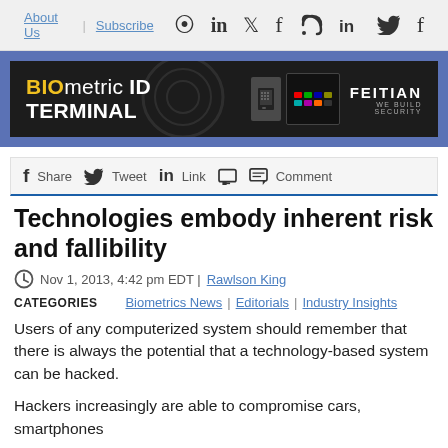About Us | Subscribe [social icons: RSS, LinkedIn, Twitter, Facebook]
[Figure (illustration): BIOmetric ID TERMINAL advertisement banner by FEITIAN, dark background with device images]
f Share  Tweet  in Link  Comment
Technologies embody inherent risk and fallibility
Nov 1, 2013, 4:42 pm EDT | Rawlson King
CATEGORIES   Biometrics News | Editorials | Industry Insights
Users of any computerized system should remember that there is always the potential that a technology-based system can be hacked.
Hackers increasingly are able to compromise cars, smartphones